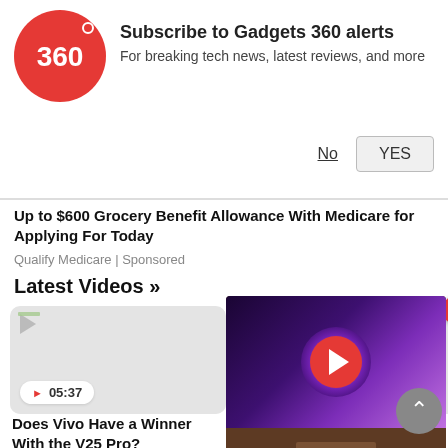[Figure (logo): Gadgets 360 logo - red circle with white '360' text]
Subscribe to Gadgets 360 alerts
For breaking tech news, latest reviews, and more
No  YES
Up to $600 Grocery Benefit Allowance With Medicare for Applying For Today
Qualify Medicare | Sponsored
Latest Videos »
[Figure (screenshot): Video thumbnail - grey placeholder with broken image icon, duration 05:37]
Does Vivo Have a Winner With the V25 Pro?
[Figure (screenshot): Video thumbnail - grey placeholder with broken image icon, duration 21:3x, with TV showing galaxy/nebula image and red play button overlay]
Best Camera Phone Under Rs. 40,000 and Interview With Cornin...